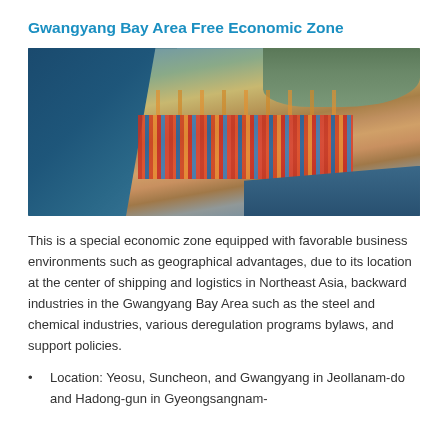Gwangyang Bay Area Free Economic Zone
[Figure (photo): Aerial photograph of Gwangyang port showing container terminals, cranes, stacked shipping containers in red and blue, adjacent water/ocean, and green hills in the background.]
This is a special economic zone equipped with favorable business environments such as geographical advantages, due to its location at the center of shipping and logistics in Northeast Asia, backward industries in the Gwangyang Bay Area such as the steel and chemical industries, various deregulation programs bylaws, and support policies.
Location: Yeosu, Suncheon, and Gwangyang in Jeollanam-do and Hadong-gun in Gyeongsangnam-do